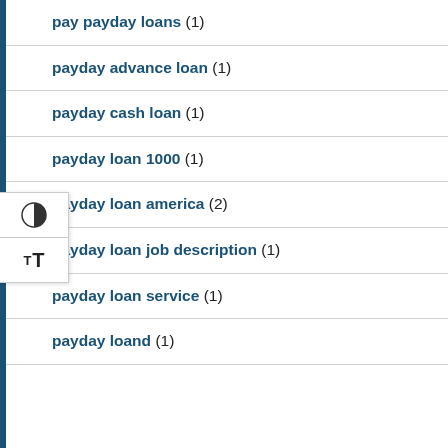pay payday loans (1)
payday advance loan (1)
payday cash loan (1)
payday loan 1000 (1)
payday loan america (2)
payday loan job description (1)
payday loan service (1)
payday loand (1)